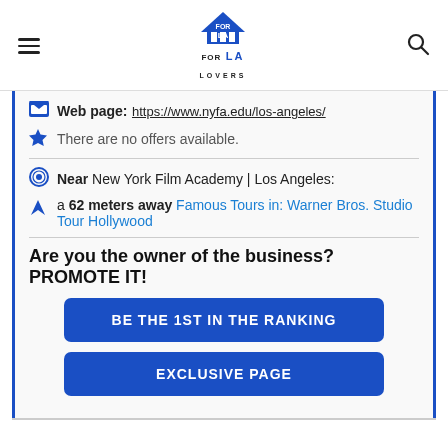FOR LA LOVERS (logo with hamburger menu and search icon)
Web page: https://www.nyfa.edu/los-angeles/
There are no offers available.
Near New York Film Academy | Los Angeles:
a 62 meters away Famous Tours in: Warner Bros. Studio Tour Hollywood
Are you the owner of the business? PROMOTE IT!
BE THE 1ST IN THE RANKING
EXCLUSIVE PAGE